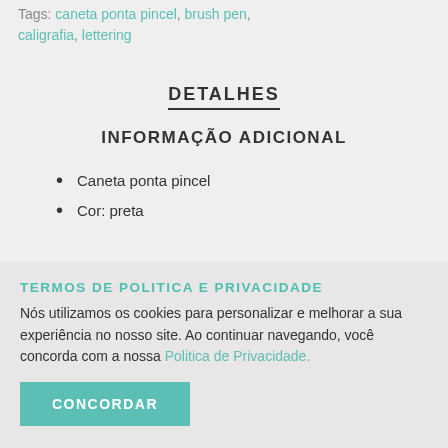Tags: caneta ponta pincel, brush pen, caligrafia, lettering
DETALHES
INFORMAÇÃO ADICIONAL
Caneta ponta pincel
Cor: preta
TERMOS DE POLITICA E PRIVACIDADE
Nós utilizamos os cookies para personalizar e melhorar a sua experiência no nosso site. Ao continuar navegando, você concorda com a nossa Politica de Privacidade.
CONCORDAR